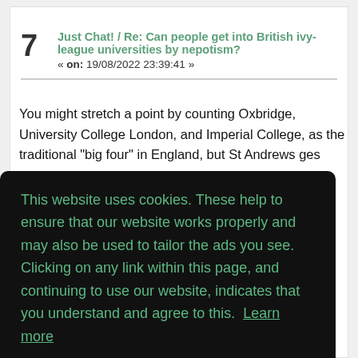7  Just Chat! / Re: Can people get into British ivy-league universities by nepotism?  « on: 19/08/2022 23:39:41 »
You might stretch a point by counting Oxbridge, University College London, and Imperial College, as the traditional "big four" in England, but St Andrews
This website uses cookies. These help to ensure that our website works properly and may also be used to tailor the ads you see. Clicking on any link within this page, and continuing to use our website, indicates that you understand and agree to this. Learn more
Got it!
8  jealous!